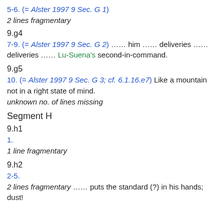5-6. (= Alster 1997 9 Sec. G 1)
2 lines fragmentary
9.g4
7-9. (= Alster 1997 9 Sec. G 2) …… him …… deliveries ……
deliveries …… Lu-Suena's second-in-command.
9.g5
10. (= Alster 1997 9 Sec. G 3; cf. 6.1.16.e7) Like a mountain not in a right state of mind.
unknown no. of lines missing
Segment H
9.h1
1.
1 line fragmentary
9.h2
2-5.
2 lines fragmentary …… puts the standard (?) in his hands;
dust!